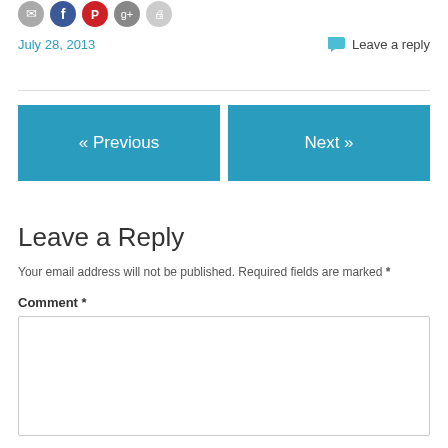[Figure (other): Social sharing icons: email (gray), Facebook (blue), Pinterest (red), Google (gray), print (light gray) — partial view at top]
July 28, 2013
Leave a reply
« Previous
Next »
Leave a Reply
Your email address will not be published. Required fields are marked *
Comment *